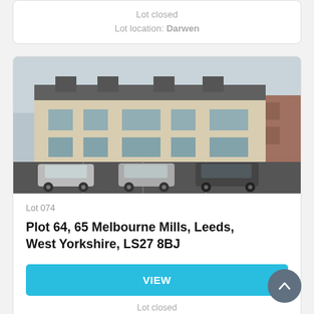Lot closed
Lot location: Darwen
[Figure (photo): Exterior photo of a modern multi-storey residential apartment block with cars parked in front, beige/cream and grey stone finish, large windows, overcast sky.]
Lot 074
Plot 64, 65 Melbourne Mills, Leeds, West Yorkshire, LS27 8BJ
VIEW
Lot closed
Lot location: Leeds, West Yorkshire